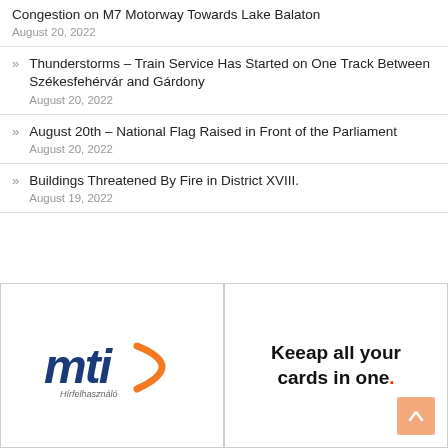Congestion on M7 Motorway Towards Lake Balaton
August 20, 2022
Thunderstorms – Train Service Has Started on One Track Between Székesfehérvár and Gárdony
August 20, 2022
August 20th – National Flag Raised in Front of the Parliament
August 20, 2022
Buildings Threatened By Fire in District XVIII.
August 19, 2022
[Figure (logo): MTI logo — blue italic 'mti' text with an arc and 'Hírfelhasználó' subtitle]
[Figure (logo): Advertisement reading 'Keeap all your cards in one.' with red period]